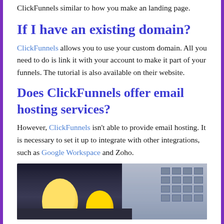ClickFunnels similar to how you make an landing page.
If I have an existing domain?
ClickFunnels allows you to use your custom domain. All you need to do is link it with your account to make it part of your funnels. The tutorial is also available on their website.
Does ClickFunnels offer email hosting services?
However, ClickFunnels isn't able to provide email hosting. It is necessary to set it up to integrate with other integrations, such as Google Workspace and Zoho.
[Figure (photo): Street-level photo showing yellow balloons in the foreground and a building with windows in the background, dark urban setting.]